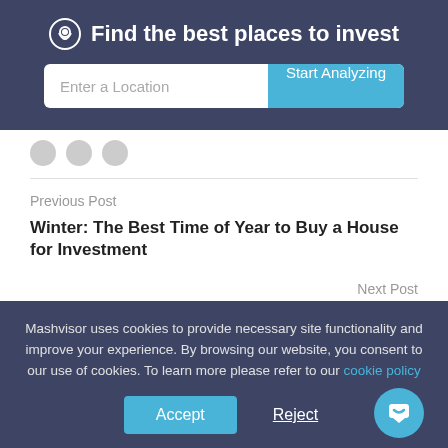Find the best places to invest
Enter a Location  Start Analyzing
Previous Post
Winter: The Best Time of Year to Buy a House for Investment
Next Post
How to Find Real Estate Comps in 2020
Mashvisor uses cookies to provide necessary site functionality and improve your experience. By browsing our website, you consent to our use of cookies. To learn more please refer to our cookie policy
Accept  Reject